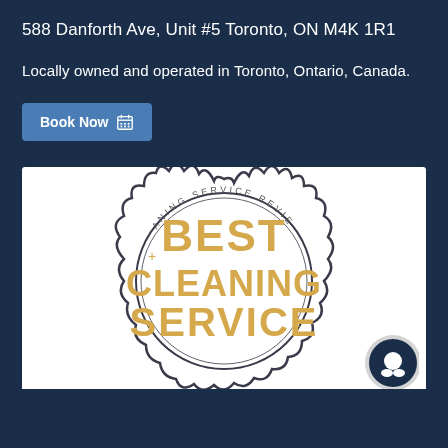588 Danforth Ave, Unit #5 Toronto, ON M4K 1R1
Locally owned and operated in Toronto, Ontario, Canada.
Book Now
[Figure (illustration): Circular badge/seal with wavy scalloped border, text 'CLEANING SERVICE REVIEWED' arced at top, and large bold text 'BEST CLEANING SERVICE' in golden/tan color in the center, with decorative plus/star symbols]